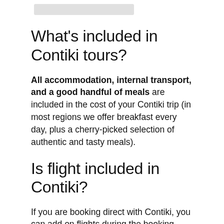What's included in Contiki tours?
All accommodation, internal transport, and a good handful of meals are included in the cost of your Contiki trip (in most regions we offer breakfast every day, plus a cherry-picked selection of authentic and tasty meals).
Is flight included in Contiki?
If you are booking direct with Contiki, you can add on flights during the booking process. ... Any flights you take during your Contiki, are included in the cost of your